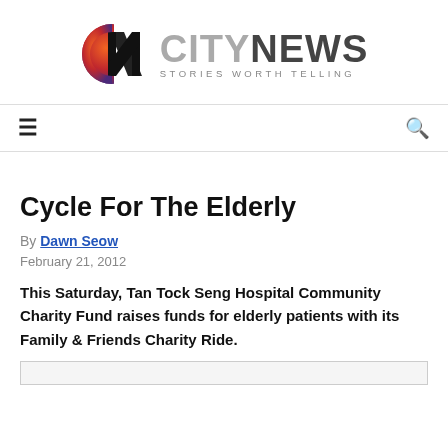[Figure (logo): CityNews logo with circular CN icon in red/purple gradient and text CITYNEWS STORIES WORTH TELLING]
Cycle For The Elderly
By Dawn Seow
February 21, 2012
This Saturday, Tan Tock Seng Hospital Community Charity Fund raises funds for elderly patients with its Family & Friends Charity Ride.